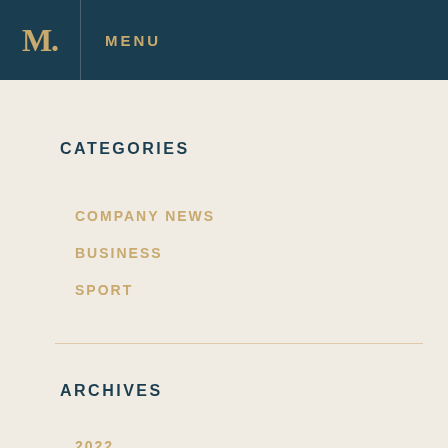M. MENU
CATEGORIES
COMPANY NEWS
BUSINESS
SPORT
ARCHIVES
2022
JANUARY